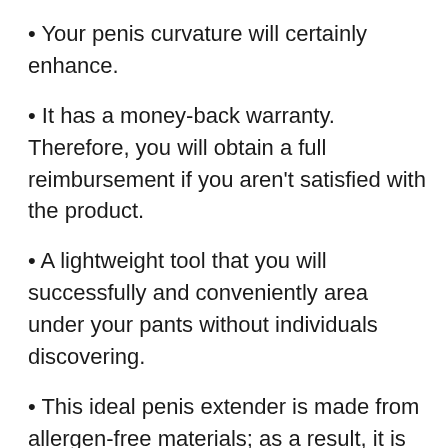Your penis curvature will certainly enhance.
It has a money-back warranty. Therefore, you will obtain a full reimbursement if you aren't satisfied with the product.
A lightweight tool that you will successfully and conveniently area under your pants without individuals discovering.
This ideal penis extender is made from allergen-free materials; as a result, it is suitable for various skin kinds.
It functions perfectly for every penis dimension.